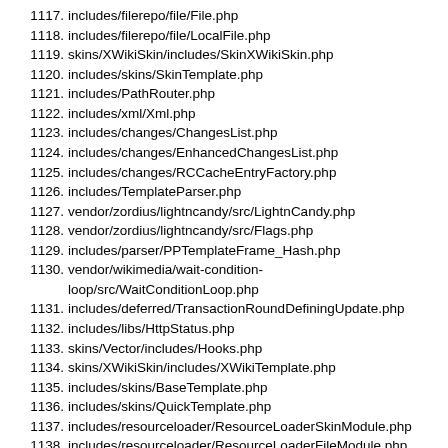1117. includes/filerepo/file/File.php
1118. includes/filerepo/file/LocalFile.php
1119. skins/XWikiSkin/includes/SkinXWikiSkin.php
1120. includes/skins/SkinTemplate.php
1121. includes/PathRouter.php
1122. includes/xml/Xml.php
1123. includes/changes/ChangesList.php
1124. includes/changes/EnhancedChangesList.php
1125. includes/changes/RCCacheEntryFactory.php
1126. includes/TemplateParser.php
1127. vendor/zordius/lightncandy/src/LightnCandy.php
1128. vendor/zordius/lightncandy/src/Flags.php
1129. includes/parser/PPTemplateFrame_Hash.php
1130. vendor/wikimedia/wait-condition-loop/src/WaitConditionLoop.php
1131. includes/deferred/TransactionRoundDefiningUpdate.php
1132. includes/libs/HttpStatus.php
1133. skins/Vector/includes/Hooks.php
1134. skins/XWikiSkin/includes/XWikiTemplate.php
1135. includes/skins/BaseTemplate.php
1136. includes/skins/QuickTemplate.php
1137. includes/resourceloader/ResourceLoaderSkinModule.php
1138. includes/resourceloader/ResourceLoaderFileModule.php
1139. includes/user/TalkPageNotificationManager.php
1140. includes/auth/AuthManager.php